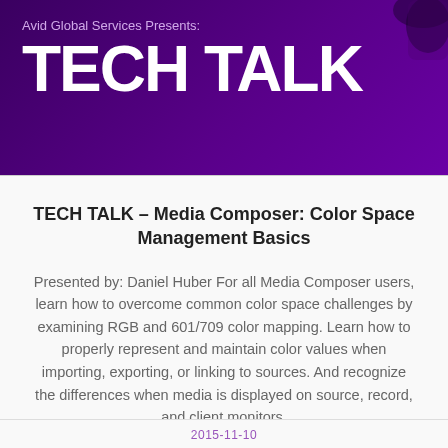[Figure (illustration): Purple banner header with 'Avid Global Services Presents: TECH TALK' text and decorative hand holding device in top right corner]
TECH TALK – Media Composer: Color Space Management Basics
Presented by: Daniel Huber For all Media Composer users, learn how to overcome common color space challenges by examining RGB and 601/709 color mapping. Learn how to properly represent and maintain color values when importing, exporting, or linking to sources. And recognize the differences when media is displayed on source, record, and client monitors.
VIEW VIDEO
2015-11-10